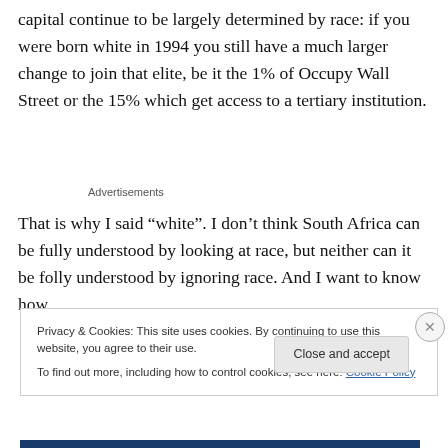capital continue to be largely determined by race: if you were born white in 1994 you still have a much larger change to join that elite, be it the 1% of Occupy Wall Street or the 15% which get access to a tertiary institution.
Advertisements
That is why I said “white”. I don’t think South Africa can be fully understood by looking at race, but neither can it be folly understood by ignoring race. And I want to know how
Privacy & Cookies: This site uses cookies. By continuing to use this website, you agree to their use.
To find out more, including how to control cookies, see here: Cookie Policy
Close and accept